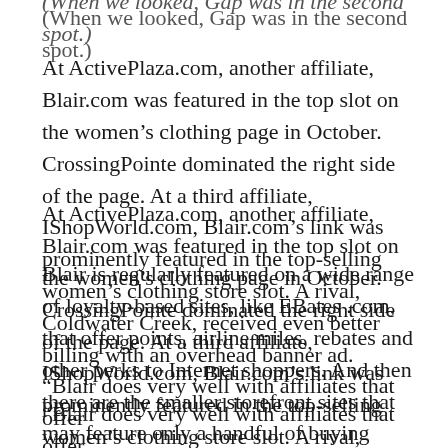(When we looked, Gap was in the second spot.)
At ActivePlaza.com, another affiliate, Blair.com was featured in the top slot on the women’s clothing page in October. CrossingPointe dominated the right side of the page. At a third affiliate, IShopWorld.com, Blair.com’s link was prominently featured in the top-selling women’s clothing store slot. A rival, Coldwater Creek, received even better billing with an overhead banner ad.
Blair is regularly featured on a wide range of loyalty-based sites, like EBates .com, that offer points, airline miles, rebates and other perks to Internet shoppers. And then there are the smaller storefront sites that may feature only a handful of buying opportunities.
“Blair does very well with affiliates that offer something to their members, like MyPoints and FP...